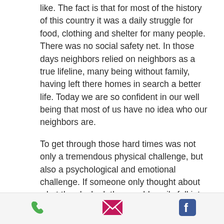like. The fact is that for most of the history of this country it was a daily struggle for food, clothing and shelter for many people. There was no social safety net. In those days neighbors relied on neighbors as a true lifeline, many being without family, having left there homes in search a better life. Today we are so confident in our well being that most of us have no idea who our neighbors are.
To get through those hard times was not only a tremendous physical challenge, but also a psychological and emotional challenge. If someone only thought about what they lacked, they could easily fall into despair and perish. Some certainly
[phone] [email] [facebook]